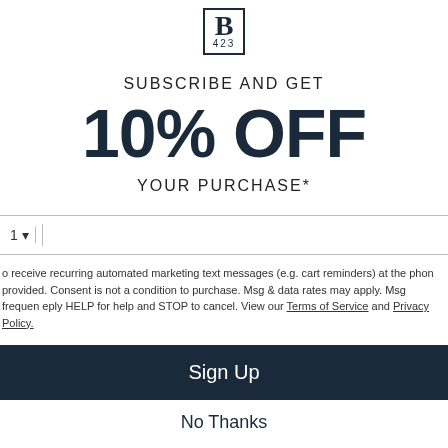[Figure (logo): B logo with 423 text in a rectangular border]
SUBSCRIBE AND GET
10% OFF
YOUR PURCHASE*
to receive recurring automated marketing text messages (e.g. cart reminders) at the phone provided. Consent is not a condition to purchase. Msg & data rates may apply. Msg frequency vary. Reply HELP for help and STOP to cancel. View our Terms of Service and Privacy Policy.
Sign Up
No Thanks